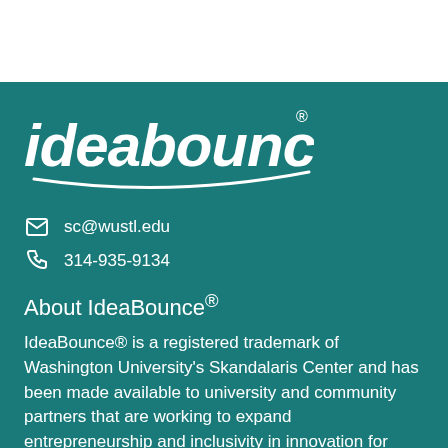[Figure (logo): IdeaBounce logo with stylized italic text and arc underline in white on teal background]
sc@wustl.edu
314-935-9134
About IdeaBounce®
IdeaBounce® is a registered trademark of Washington University's Skandalaris Center and has been made available to university and community partners that are working to expand entrepreneurship and inclusivity in innovation for everyone. IdeaBounce® is a platform for sharing ideas at all stages and a network for others to connect and engage throughout the...